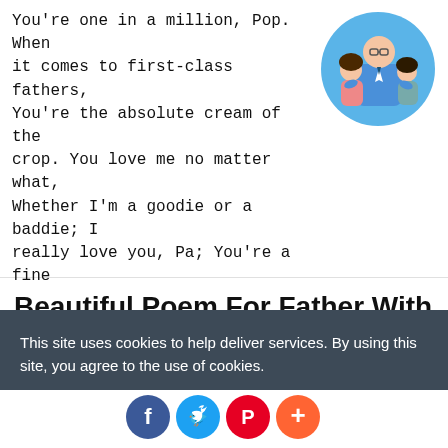You're one in a million, Pop. When it comes to first-class fathers, You're the absolute cream of the crop. You love me no matter what, Whether I'm a goodie or a baddie; I really love you, Pa; You're a fine
[Figure (illustration): Cartoon illustration of a father hugging two children in a circular frame, blue background]
Beautiful Poem For Father With Images & Pictures
This site uses cookies to help deliver services. By using this site, you agree to the use of cookies.
LEARN MORE   OK
went away without telling me, Without you there is nothing left
[Figure (illustration): Social sharing buttons: Facebook, Twitter, Pinterest, Plus]